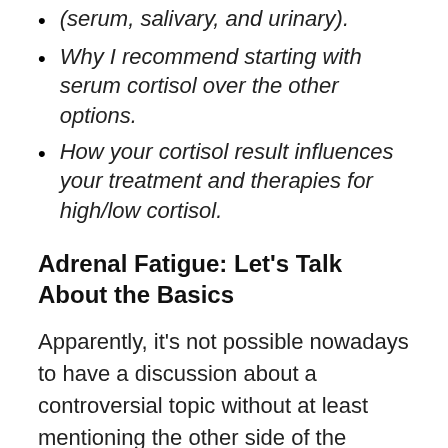(serum, salivary, and urinary).
Why I recommend starting with serum cortisol over the other options.
How your cortisol result influences your treatment and therapies for high/low cortisol.
Adrenal Fatigue: Let's Talk About the Basics
Apparently, it's not possible nowadays to have a discussion about a controversial topic without at least mentioning the other side of the argument.